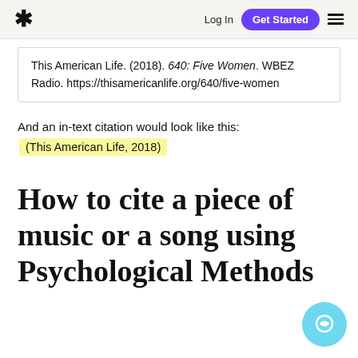* Log In  Get Started  ≡
This American Life. (2018). 640: Five Women. WBEZ Radio. https://thisamericanlife.org/640/five-women
And an in-text citation would look like this:
(This American Life, 2018)
How to cite a piece of music or a song using Psychological Methods